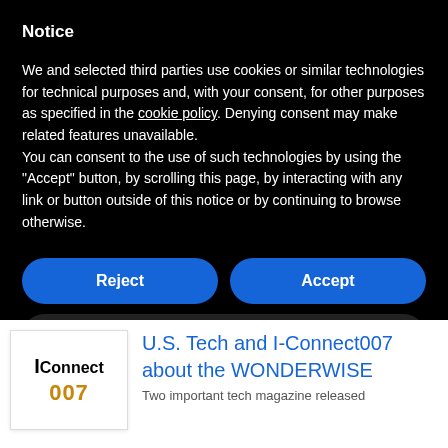Notice
We and selected third parties use cookies or similar technologies for technical purposes and, with your consent, for other purposes as specified in the cookie policy. Denying consent may make related features unavailable.
You can consent to the use of such technologies by using the "Accept" button, by scrolling this page, by interacting with any link or button outside of this notice or by continuing to browse otherwise.
Reject
Accept
Learn more and customize
[Figure (logo): IConnect007 logo — text 'I-Connect' in black bold with '007' in gold/amber bold below]
U.S. Tech and I-Connect007 about the WONDERWISE
Two important tech magazine released